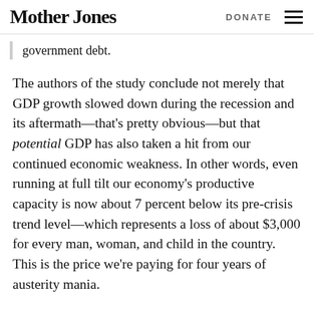Mother Jones   DONATE
government debt.
The authors of the study conclude not merely that GDP growth slowed down during the recession and its aftermath—that's pretty obvious—but that potential GDP has also taken a hit from our continued economic weakness. In other words, even running at full tilt our economy's productive capacity is now about 7 percent below its pre-crisis trend level—which represents a loss of about $3,000 for every man, woman, and child in the country. This is the price we're paying for four years of austerity mania.